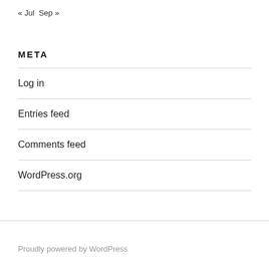« Jul  Sep »
META
Log in
Entries feed
Comments feed
WordPress.org
Proudly powered by WordPress